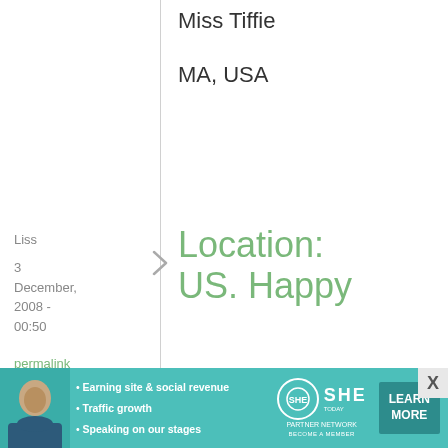Miss Tiffie
MA, USA
Liss
3 December, 2008 - 00:50
permalink
Location: US. Happy
Location: US.
Happy anniversary!
While I'd love the cookbook, the varied and simple recipes you
[Figure (infographic): SHE Partner Network advertisement banner with woman photo, bullet points about earning site & social revenue, traffic growth, speaking on our stages, SHE logo with circle, and LEARN MORE button]